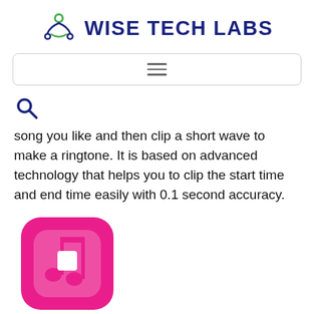WISE TECH LABS
[Figure (logo): Wise Tech Labs logo with green and dark blue atom/molecule icon and bold dark navy text]
[Figure (screenshot): Navigation bar with hamburger menu icon (three horizontal lines)]
[Figure (other): Search icon (magnifying glass)]
song you like and then clip a short wave to make a ringtone. It is based on advanced technology that helps you to clip the start time and end time easily with 0.1 second accuracy.
[Figure (logo): Pink/magenta app icon with white music note symbol on rounded square background]